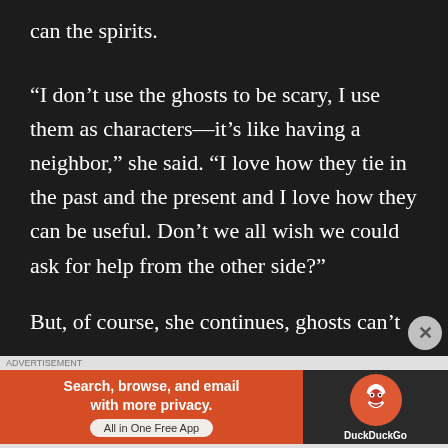can the spirits.
“I don’t use the ghosts to be scary, I use them as characters—it’s like having a neighbor,” she said. “I love how they tie in the past and the present and I love how they can be useful. Don’t we all wish we could ask for help from the other side?”
But, of course, she continues, ghosts can’t
[Figure (screenshot): DuckDuckGo advertisement banner: orange left panel with text 'Search, browse, and email with more privacy. All in One Free App' and dark right panel with DuckDuckGo logo and name.]